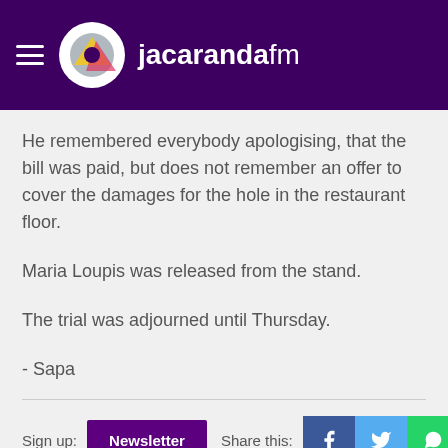jacarandafm
He remembered everybody apologising, that the bill was paid, but does not remember an offer to cover the damages for the hole in the restaurant floor.
Maria Loupis was released from the stand.
The trial was adjourned until Thursday.
- Sapa